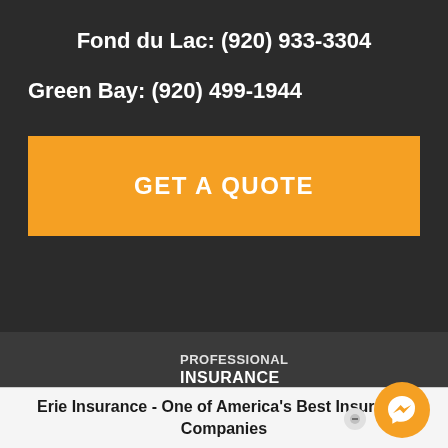Fond du Lac: (920) 933-3304
Green Bay: (920) 499-1944
GET A QUOTE
PROFESSIONAL INSURANCE AGENTS
Fox Valley Insurance Group specializes in home, auto, life, business insurance and more for all of Wisconsin and Illinois...
Erie Insurance - One of America's Best Insurance Companies